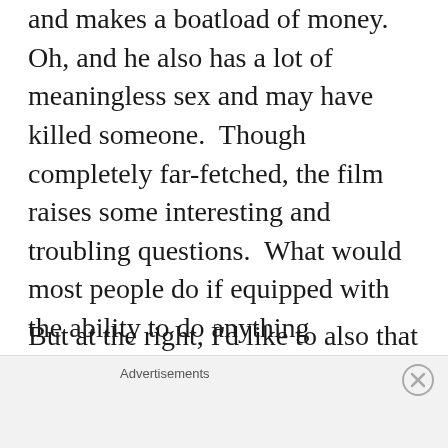and makes a boatload of money.  Oh, and he also has a lot of meaningless sex and may have killed someone.  Though completely far-fetched, the film raises some interesting and troubling questions.  What would most people do if equipped with the ability to do anything extremely well?  According to Limitless, the first thing they would do is buy a new suit and make money on Wall Street.  Sounds a lot like Ivy League graduates before 2008.
But at the right, I'd like to also that
Advertisements